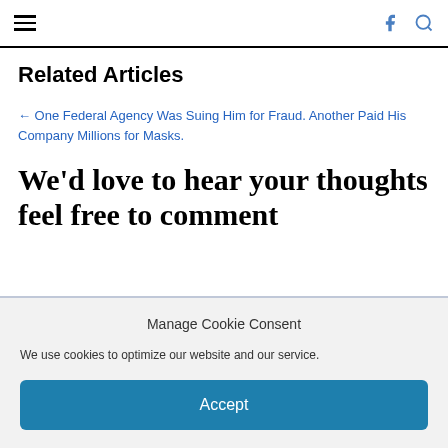☰  f 🔍
Related Articles
← One Federal Agency Was Suing Him for Fraud. Another Paid His Company Millions for Masks.
We'd love to hear your thoughts feel free to comment
Manage Cookie Consent
We use cookies to optimize our website and our service.
Accept